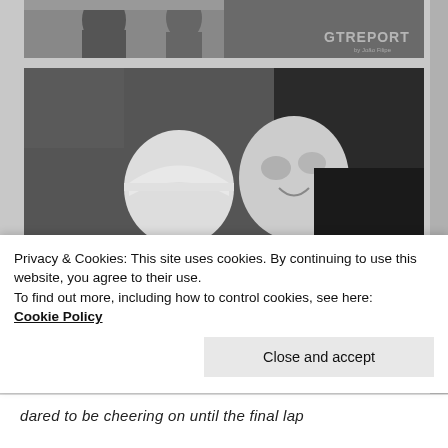[Figure (photo): Black and white photo strip at top of page, partially cropped, showing people at what appears to be a motorsport event, with GT Report watermark]
[Figure (photo): Black and white photograph of two people embracing joyfully at what appears to be a motorsport event. One person wearing a white racing cap is being hugged by another smiling person in a white long-sleeve shirt. GT Report watermark in bottom right corner.]
Privacy & Cookies: This site uses cookies. By continuing to use this website, you agree to their use.
To find out more, including how to control cookies, see here:
Cookie Policy
Close and accept
dared to be cheering on until the final lap